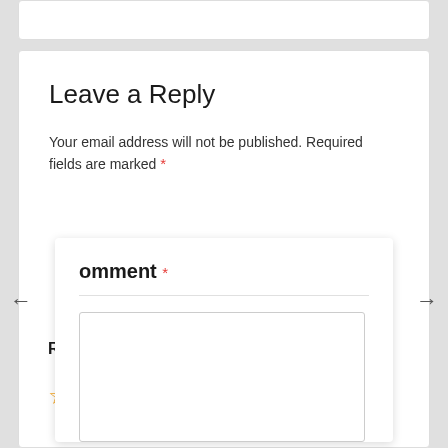Leave a Reply
Your email address will not be published. Required fields are marked *
omment *
[textarea comment field]
Rating*
☆ ☆ ☆ ☆ ☆